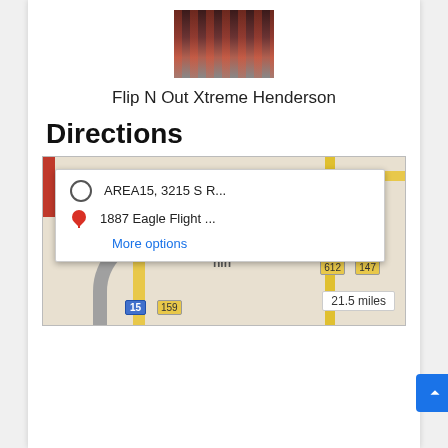[Figure (photo): Indoor gym/trampoline park photo showing colorful equipment from an aerial view]
Flip N Out Xtreme Henderson
Directions
[Figure (map): Google Maps screenshot showing directions from AREA15, 3215 S R... to 1887 Eagle Flight ..., 21.5 miles, with More options link. Map shows Las Vegas area with routes, road badges 604, 612, 147, 15, 159.]